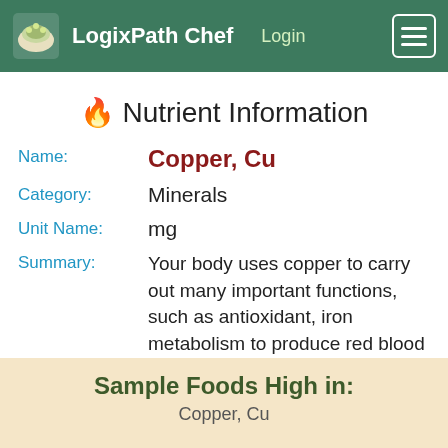LogixPath Chef  Login
🔥 Nutrient Information
Name: Copper, Cu
Category: Minerals
Unit Name: mg
Summary: Your body uses copper to carry out many important functions, such as antioxidant, iron metabolism to produce red blood cells, making energy, connective tissues, and bone health.
Sample Foods High in: